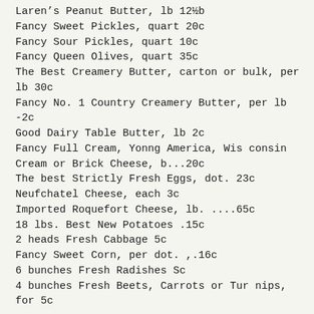Laren's Peanut Butter, lb 12½b
Fancy Sweet Pickles, quart 20c
Fancy Sour Pickles, quart 10c
Fancy Queen Olives, quart 35c
The Best Creamery Butter, carton or bulk, per lb 30c
Fancy No. 1 Country Creamery Butter, per lb -2c
Good Dairy Table Butter, lb 2c
Fancy Full Cream, Yonng America, Wisconsin Cream or Brick Cheese, b...20c
The best Strictly Fresh Eggs, dot. 23c
Neufchatel Cheese, each 3c
Imported Roquefort Cheese, lb. ....65c
18 lbs. Best New Potatoes .15c
2 heads Fresh Cabbage 5c
Fancy Sweet Corn, per dot. ,.16c
6 bunches Fresh Radishes Sc
4 bunches Fresh Beets, Carrots or Turnips, for 5c